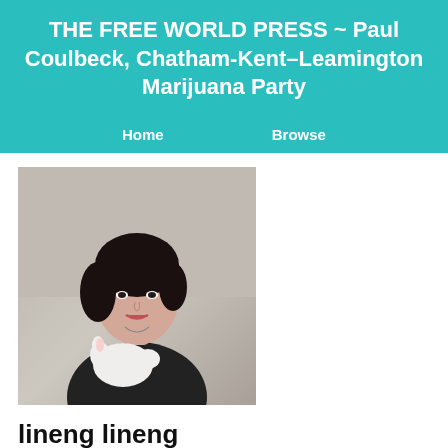THE FREE WORLD PRESS ~ Paul Coulbeck, Chatham-Kent–Leamington Marijuana Party
Home    Browse
[Figure (photo): Profile photo of a young woman with dark hair pulled up, wearing a black top, holding a small white animal, against a light gray background.]
lineng lineng
What's New    Info
What's New
lineng lineng wrote a new blog entry:
CNG Emulator Suppliers